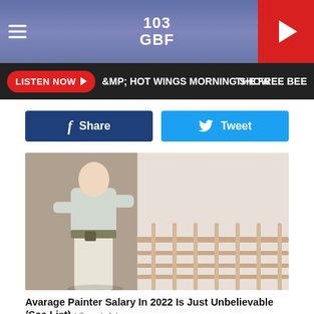103 GBF
LISTEN NOW ►  AMP; HOT WINGS MORNING SHOW   THE FREE BEE
Share   Tweet
[Figure (photo): Person in white t-shirt and pants painting a wall with a roller, viewed from behind]
Avarage Painter Salary In 2022 Is Just Unbelievable (See List)
Painters Job | Search Ads
[Figure (photo): Close-up of a light bulb being held by fingers against a warm background]